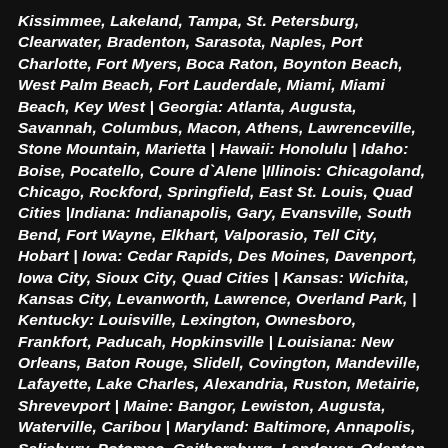Kissimmee, Lakeland, Tampa, St. Petersburg, Clearwater, Bradenton, Sarasota, Naples, Port Charlotte, Fort Myers, Boca Raton, Boynton Beach, West Palm Beach, Fort Lauderdale, Miami, Miami Beach, Key West | Georgia: Atlanta, Augusta, Savannah, Columbus, Macon, Athens, Lawrenceville, Stone Mountain, Marietta | Hawaii: Honolulu | Idaho: Boise, Pocatello, Coure d`Alene |Illinois: Chicagoland, Chicago, Rockford, Springfield, East St. Louis, Quad Cities |Indiana: Indianapolis, Gary, Evansville, South Bend, Fort Wayne, Elkhart, Valporasio, Tell City, Hobart | Iowa: Cedar Rapids, Des Moines, Davenport, Iowa City, Sioux City, Quad Cities | Kansas: Wichita, Kansas City, Levanworth, Lawrence, Overland Park, | Kentucky: Louisville, Lexington, Ownesboro, Frankfort, Paducah, Hopkinsville | Louisiana: New Orleans, Baton Rouge, Slidell, Covington, Mandeville, Lafayette, Lake Charles, Alexandria, Ruston, Metairie, Shrevevport | Maine: Bangor, Lewiston, Augusta, Waterville, Caribou | Maryland: Baltimore, Annapolis, Salisbury, Potomac, Gaithersburg, Landover, Odenton, Eastern Shore, Rockville | Massachusetts: Boston